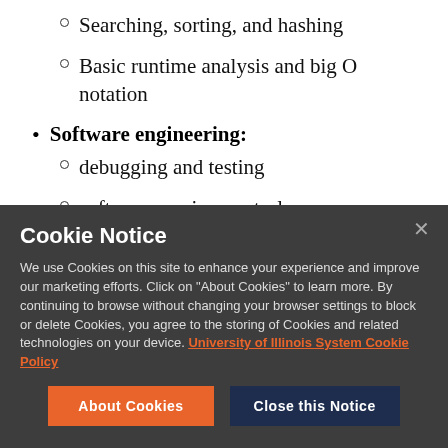Searching, sorting, and hashing
Basic runtime analysis and big O notation
Software engineering: debugging and testing, software version control, UI design and implementation
debugging and testing
software version control
UI design and implementation
Cookie Notice

We use Cookies on this site to enhance your experience and improve our marketing efforts. Click on "About Cookies" to learn more. By continuing to browse without changing your browser settings to block or delete Cookies, you agree to the storing of Cookies and related technologies on your device. University of Illinois System Cookie Policy